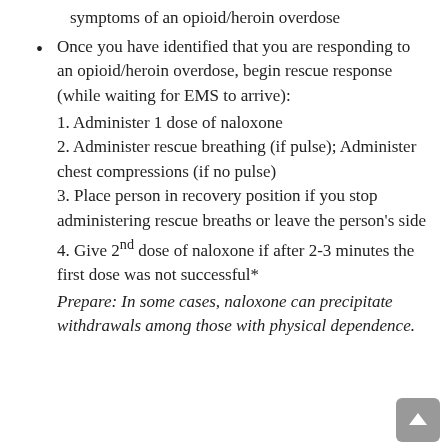symptoms of an opioid/heroin overdose
Once you have identified that you are responding to an opioid/heroin overdose, begin rescue response (while waiting for EMS to arrive):
1. Administer 1 dose of naloxone
2. Administer rescue breathing (if pulse); Administer chest compressions (if no pulse)
3. Place person in recovery position if you stop administering rescue breaths or leave the person's side
4. Give 2nd dose of naloxone if after 2-3 minutes the first dose was not successful*
Prepare: In some cases, naloxone can precipitate withdrawals among those with physical dependence.